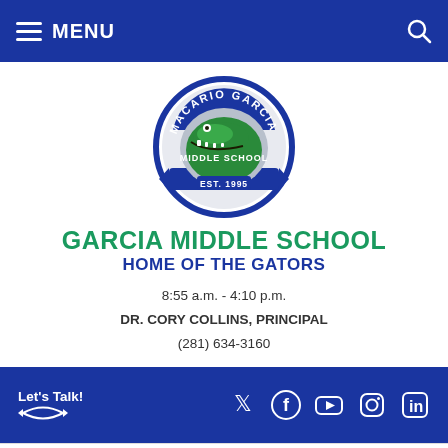MENU
[Figure (logo): Macario Garcia Middle School circular logo with green alligator, EST. 1995]
GARCIA MIDDLE SCHOOL
HOME OF THE GATORS
8:55 a.m. - 4:10 p.m.
DR. CORY COLLINS, PRINCIPAL
(281) 634-3160
[Figure (infographic): Blue footer bar with Let's Talk! logo and social media icons: Twitter, Facebook, YouTube, Instagram, LinkedIn]
Home > Teacher Websites > Griffin, Danielle